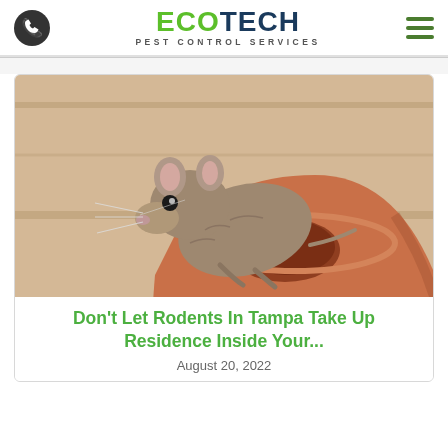ECOTECH PEST CONTROL SERVICES
[Figure (photo): A small brown mouse or rat perched on top of a terracotta clay pot, looking at the camera, against a light wooden background.]
Don't Let Rodents In Tampa Take Up Residence Inside Your...
August 20, 2022